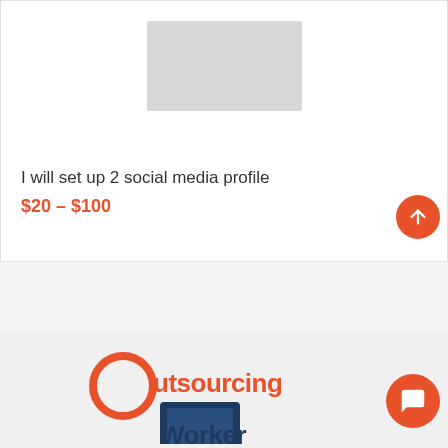[Figure (photo): Product image placeholder - light gray rectangle showing a cloth/fabric item]
I will set up 2 social media profile
$20 – $100
[Figure (logo): Outsourcing Worker logo with orange circle icon and dark teal text reading 'Outsourcing Worker']
[Figure (other): Scroll-to-top button: orange circle with white upward arrow]
[Figure (other): Chat button: orange circle with white speech bubble/chat icon]